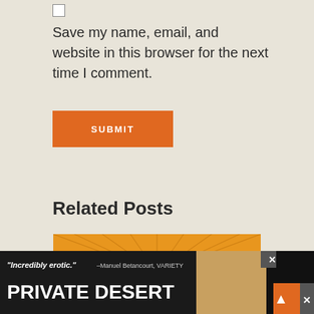[Figure (other): Checkbox input element]
Save my name, email, and website in this browser for the next time I comment.
[Figure (other): Orange Submit button]
Related Posts
[Figure (illustration): Orange background with radiating lines pattern - related post thumbnail]
[Figure (other): Advertisement banner: 'Incredibly erotic.' -Manuel Betancourt, VARIETY / PRIVATE DESERT with close and scroll buttons]